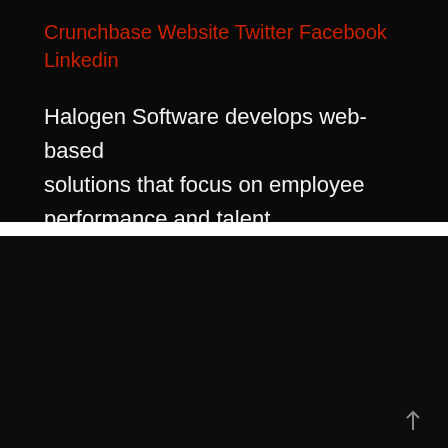Crunchbase Website Twitter Facebook Linkedin
Halogen Software develops web-based solutions that focus on employee performance and talent management.
InitLive Inc.